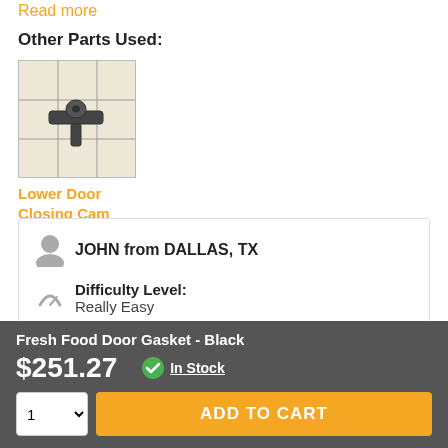Read more
Other Parts Used:
[Figure (photo): Product image of a Lower Door Closing Cam hardware part, shown against a grid background]
Lower Door Closing Cam
JOHN from DALLAS, TX
Difficulty Level:
Really Easy
Total Repair Time:
Fresh Food Door Gasket - Black
$251.27
In Stock
ADD TO CART